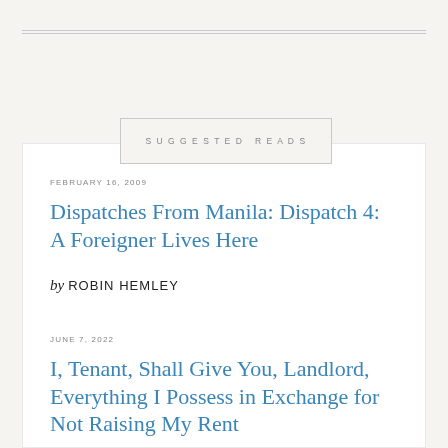SUGGESTED READS
FEBRUARY 16, 2009
Dispatches From Manila: Dispatch 4: A Foreigner Lives Here
by ROBIN HEMLEY
JUNE 7, 2022
I, Tenant, Shall Give You, Landlord, Everything I Possess in Exchange for Not Raising My Rent